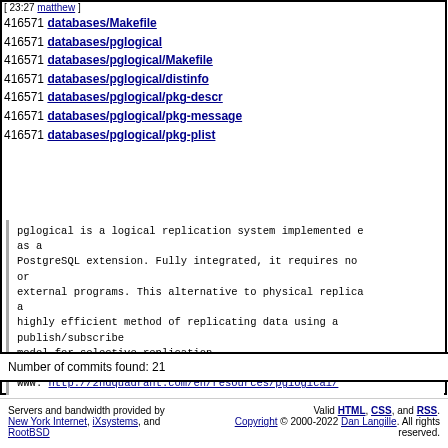[ 23:27 matthew ]
416571 databases/Makefile
416571 databases/pglogical
416571 databases/pglogical/Makefile
416571 databases/pglogical/distinfo
416571 databases/pglogical/pkg-descr
416571 databases/pglogical/pkg-message
416571 databases/pglogical/pkg-plist
pglogical is a logical replication system implemented as a PostgreSQL extension. Fully integrated, it requires no or external programs. This alternative to physical replication a highly efficient method of replicating data using a publish/subscribe model for selective replication.

WWW: http://2ndquadrant.com/en/resources/pglogical/
Number of commits found: 21
Servers and bandwidth provided by New York Internet, iXsystems, and RootBSD. Valid HTML, CSS, and RSS. Copyright © 2000-2022 Dan Langille. All rights reserved.